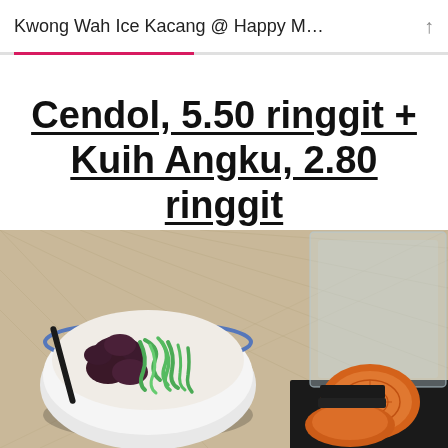Kwong Wah Ice Kacang @ Happy M…
Cendol, 5.50 ringgit + Kuih Angku, 2.80 ringgit
[Figure (photo): Photo of a bowl of cendol with green noodles and red beans (left) and Kuih Angku orange glutinous rice cakes (right), placed on a woven rattan/linen surface]